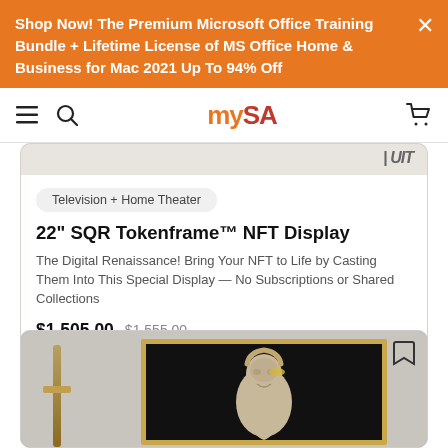Shop Now! The Premium Microsoft Office Training Bundle + Lifetime License of MS Office Home & Business for Mac 2021 Up To 94% Off
[Figure (screenshot): mySA website navigation bar with hamburger menu, search icon, mySA logo, and cart icon]
[Figure (screenshot): Partial product image strip at top of card]
Television + Home Theater
22" SQR Tokenframe™ NFT Display
The Digital Renaissance! Bring Your NFT to Life by Casting Them Into This Special Display — No Subscriptions or Shared Collections
$1,505.00  $1,555.00
[Figure (photo): Framed NFT display showing a classical sculpture bust against a dark background, mounted on a light grey wall with a brass wall lamp to the left]